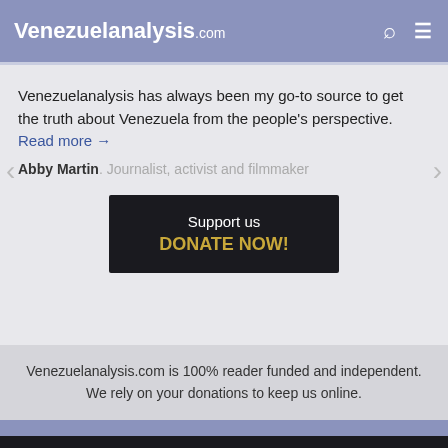Venezuelanalysis.com
Venezuelanalysis has always been my go-to source to get the truth about Venezuela from the people's perspective. Read more →
Abby Martin. Journalist, activist and filmmaker
[Figure (other): Dark button with text: Support us DONATE NOW!]
Venezuelanalysis.com is 100% reader funded and independent. We rely on your donations to keep us online.
Support us, DONATE NOW!